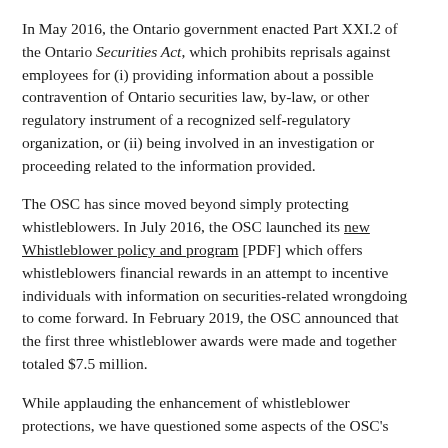In May 2016, the Ontario government enacted Part XXI.2 of the Ontario Securities Act, which prohibits reprisals against employees for (i) providing information about a possible contravention of Ontario securities law, by-law, or other regulatory instrument of a recognized self-regulatory organization, or (ii) being involved in an investigation or proceeding related to the information provided.
The OSC has since moved beyond simply protecting whistleblowers. In July 2016, the OSC launched its new Whistleblower policy and program [PDF] which offers whistleblowers financial rewards in an attempt to incentive individuals with information on securities-related wrongdoing to come forward. In February 2019, the OSC announced that the first three whistleblower awards were made and together totaled $7.5 million.
While applauding the enhancement of whistleblower protections, we have questioned some aspects of the OSC's